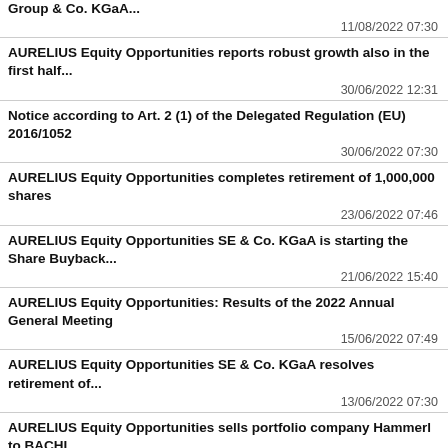Group & Co. KGaA...
11/08/2022 07:30
AURELIUS Equity Opportunities reports robust growth also in the first half...
30/06/2022 12:31
Notice according to Art. 2 (1) of the Delegated Regulation (EU) 2016/1052
30/06/2022 07:30
AURELIUS Equity Opportunities completes retirement of 1,000,000 shares
23/06/2022 07:46
AURELIUS Equity Opportunities SE & Co. KGaA is starting the Share Buyback...
21/06/2022 15:40
AURELIUS Equity Opportunities: Results of the 2022 Annual General Meeting
15/06/2022 07:49
AURELIUS Equity Opportunities SE & Co. KGaA resolves retirement of...
13/06/2022 07:30
AURELIUS Equity Opportunities sells portfolio company Hammerl to BACHL...
12/05/2022 07:30
AURELIUS Equity Opportunities begins the 2022 financial year with a robust...
10/05/2022 07:30